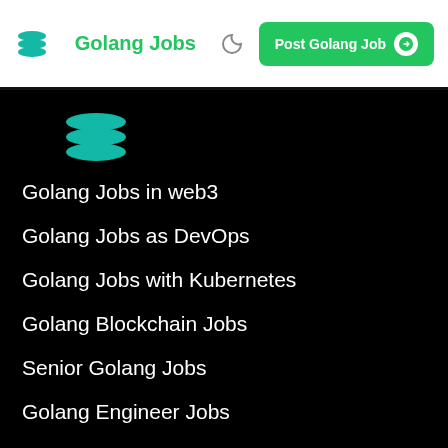Golang Jobs | Post Golang Job
[Figure (logo): Teal layered stack logo icon in main content area]
Golang Jobs in web3
Golang Jobs as DevOps
Golang Jobs with Kubernetes
Golang Blockchain Jobs
Senior Golang Jobs
Golang Engineer Jobs